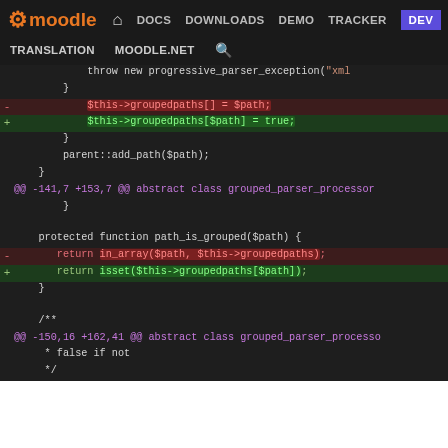moodle | DOCS DOWNLOADS DEMO TRACKER DEV | TRANSLATION MOODLE.NET
[Figure (screenshot): Moodle developer site code diff view showing changes to grouped_parser_processor PHP class. Diff shows replacement of array push with associative array assignment, and in_array check with isset check. Includes hunk headers for lines -141,7 +153,7 and -150,16 +162,41.]